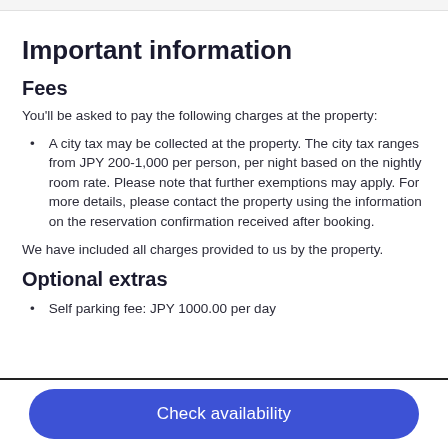Important information
Fees
You'll be asked to pay the following charges at the property:
A city tax may be collected at the property. The city tax ranges from JPY 200-1,000 per person, per night based on the nightly room rate. Please note that further exemptions may apply. For more details, please contact the property using the information on the reservation confirmation received after booking.
We have included all charges provided to us by the property.
Optional extras
Self parking fee: JPY 1000.00 per day
Check availability